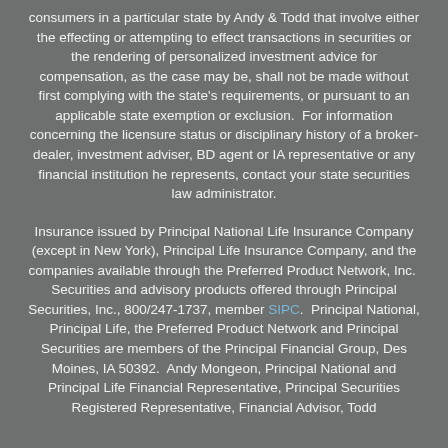consumers in a particular state by Andy & Todd that involve either the effecting or attempting to effect transactions in securities or the rendering of personalized investment advice for compensation, as the case may be, shall not be made without first complying with the state's requirements, or pursuant to an applicable state exemption or exclusion.  For information concerning the licensure status or disciplinary history of a broker-dealer, investment adviser, BD agent or IA representative or any financial institution he represents, contact your state securities law administrator.
Insurance issued by Principal National Life Insurance Company (except in New York), Principal Life Insurance Company, and the companies available through the Preferred Product Network, Inc.  Securities and advisory products offered through Principal Securities, Inc., 800/247-1737, member SIPC.  Principal National, Principal Life, the Preferred Product Network and Principal Securities are members of the Principal Financial Group, Des Moines, IA 50392.  Andy Mongeon, Principal National and Principal Life Financial Representative, Principal Securities Registered Representative, Financial Advisor, Todd